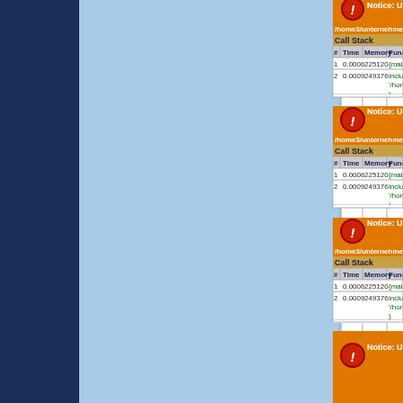[Figure (screenshot): Dark navy sidebar on the left, light blue panel next to it, and PHP error/notice debug output panels on the right showing 'Notice: Use of undefined...' with Call Stack tables showing #, Time, Memory, Function columns. Four notice blocks visible, each with orange header, call stack with {main}() and include('/home3/unternehmn...') rows.]